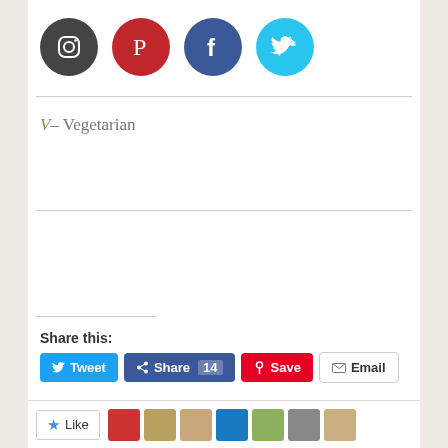[Figure (illustration): Four social media icon circles: Instagram (dark gray), Pinterest (red), Facebook (dark blue), Twitter (light blue)]
V– Vegetarian
Share this:
Tweet | Share 14 | Save | Email | Print
[Figure (screenshot): Like button and a row of small avatar/thumbnail images at the bottom of the page]